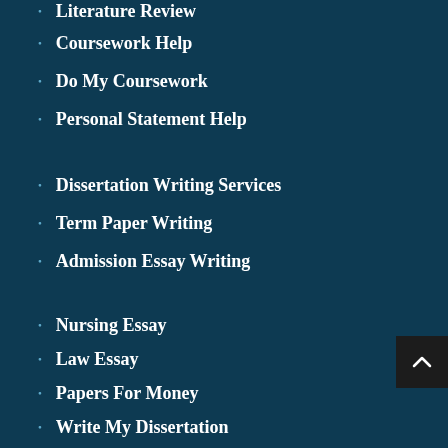Literature Review
Coursework Help
Do My Coursework
Personal Statement Help
Dissertation Writing Services
Term Paper Writing
Admission Essay Writing
Nursing Essay
Law Essay
Papers For Money
Write My Dissertation
Order Essay
Online Class Help
Rewrite My Essay
Assignment Writer